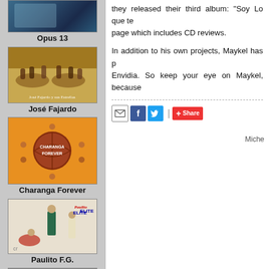[Figure (photo): Opus 13 album cover - partial view, dark blue toned image]
Opus 13
[Figure (photo): José Fajardo album cover - group photo at dinner/event]
José Fajardo
[Figure (photo): Charanga Forever album cover - basketball with people around it on orange/yellow background]
Charanga Forever
[Figure (photo): Paulito F.G. Elite album cover - people posing, red/blue text]
Paulito F.G.
[Figure (photo): Partial album cover at bottom of sidebar]
they released their third album: "Soy Lo que te..." page which includes CD reviews.
In addition to his own projects, Maykel has p... Envidia. So keep your eye on Maykel, because...
Share  Miche
Share